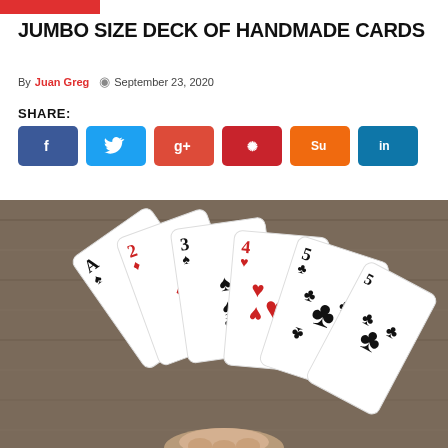JUMBO SIZE DECK OF HANDMADE CARDS
By Juan Greg  September 23, 2020
SHARE:
[Figure (other): Social share buttons: Facebook, Twitter, Google+, Pinterest, StumbleUpon, LinkedIn]
[Figure (photo): Photo of a hand holding a fan of jumbo handmade playing cards: Ace of Spades, 2 of Diamonds, 3 of Spades, 4 of Hearts, 5 of Clubs]